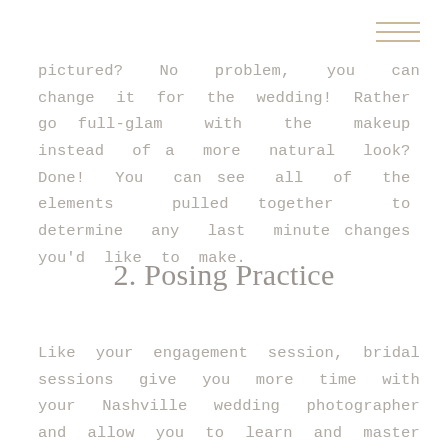[Figure (other): Hamburger menu icon with three horizontal lines in tan/gold color, positioned top right]
pictured? No problem, you can change it for the wedding! Rather go full-glam with the makeup instead of a more natural look? Done! You can see all of the elements pulled together to determine any last minute changes you'd like to make.
2. Posing Practice
Like your engagement session, bridal sessions give you more time with your Nashville wedding photographer and allow you to learn and master posing before the wedding. You get